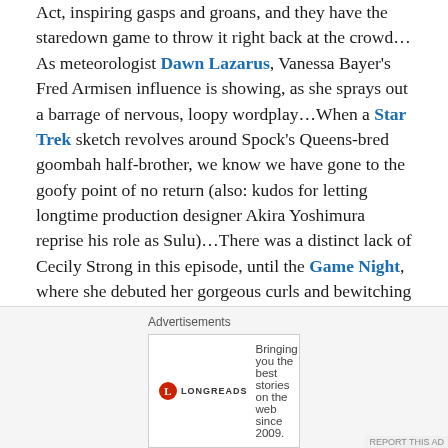Act, inspiring gasps and groans, and they have the staredown game to throw it right back at the crowd…As meteorologist Dawn Lazarus, Vanessa Bayer's Fred Armisen influence is showing, as she sprays out a barrage of nervous, loopy wordplay…When a Star Trek sketch revolves around Spock's Queens-bred goombah half-brother, we know we have gone to the goofy point of no return (also: kudos for letting longtime production designer Akira Yoshimura reprise his role as Sulu)…There was a distinct lack of Cecily Strong in this episode, until the Game Night, where she debuted her gorgeous curls and bewitching black dress and sang the Frasier (or Frazier) theme song, and all was right with the world.
Advertisements
[Figure (logo): Longreads advertisement: logo with red circle L and text 'Longreads', tagline 'Bringing you the best stories on the web since 2009.']